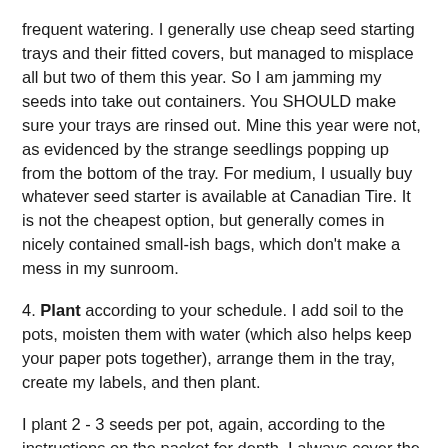frequent watering. I generally use cheap seed starting trays and their fitted covers, but managed to misplace all but two of them this year. So I am jamming my seeds into take out containers. You SHOULD make sure your trays are rinsed out. Mine this year were not, as evidenced by the strange seedlings popping up from the bottom of the tray. For medium, I usually buy whatever seed starter is available at Canadian Tire. It is not the cheapest option, but generally comes in nicely contained small-ish bags, which don't make a mess in my sunroom.
4. Plant according to your schedule. I add soil to the pots, moisten them with water (which also helps keep your paper pots together), arrange them in the tray, create my labels, and then plant.
I plant 2 - 3 seeds per pot, again, according to the instructions on the packet for depth. I always cover the tray, preferably with a fitted lid, which keeps the soil moist. Seedlings are labelled and the tray is placed in a window with southern exposure.